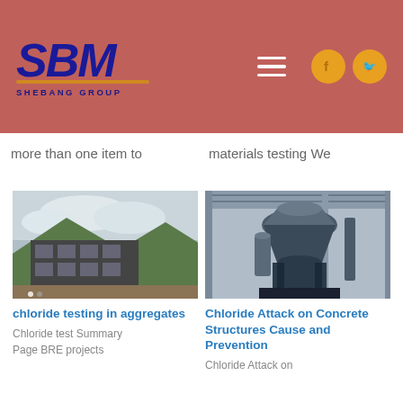SBM Shebang Group
more than one item to
materials testing We
[Figure (photo): Aerial view of an industrial facility with mountains in the background and construction equipment]
chloride testing in aggregates
Chloride test Summary
Page BRE projects
[Figure (photo): Industrial cone crusher machine in a factory setting with metal framework and piping]
Chloride Attack on Concrete Structures Cause and Prevention
Chloride Attack on